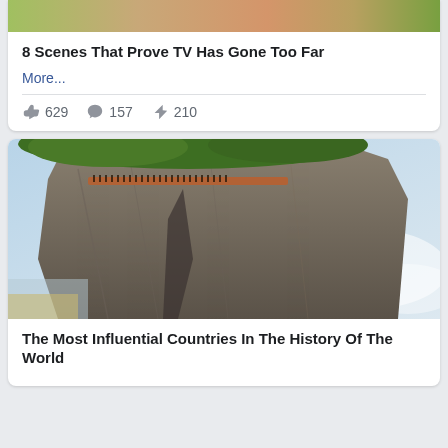[Figure (photo): Cropped photo of a person at top, partially visible]
8 Scenes That Prove TV Has Gone Too Far
More...
629  157  210
[Figure (photo): Aerial photo of a cliff walkway in a mountain landscape with lush greenery and misty valleys]
The Most Influential Countries In The History Of The World